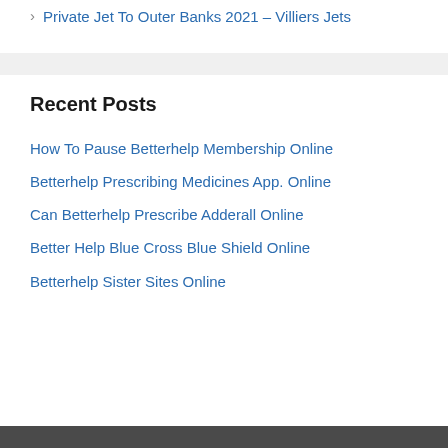Private Jet To Outer Banks 2021 – Villiers Jets
Recent Posts
How To Pause Betterhelp Membership Online
Betterhelp Prescribing Medicines App. Online
Can Betterhelp Prescribe Adderall Online
Better Help Blue Cross Blue Shield Online
Betterhelp Sister Sites Online